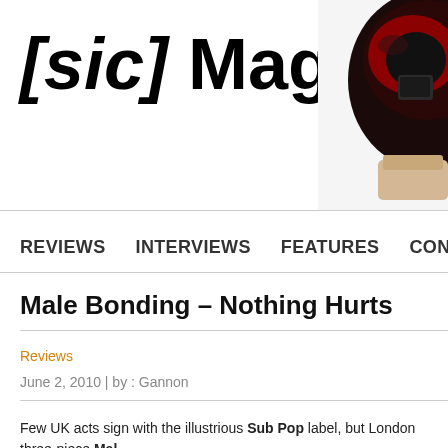[sic] Magazine
[Figure (photo): Partial image of a dark helmet or headgear object, cut off at the right edge of the page header]
REVIEWS   INTERVIEWS   FEATURES   CON...
Male Bonding – Nothing Hurts
Reviews
June 2, 2010 | by : Gannon
Few UK acts sign with the illustrious Sub Pop label, but London three-piece Male Bonding...